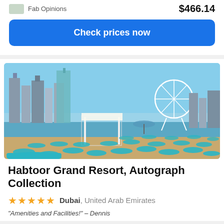Fab Opinions  $466.14
Check prices now
[Figure (photo): Beach scene at Habtoor Grand Resort Dubai with turquoise sun loungers on sandy beach, white cabana, and Ain Dubai Ferris wheel and city skyline in background]
Habtoor Grand Resort, Autograph Collection
★★★★★ Dubai, United Arab Emirates
"Amenities and Facilities!" – Dennis